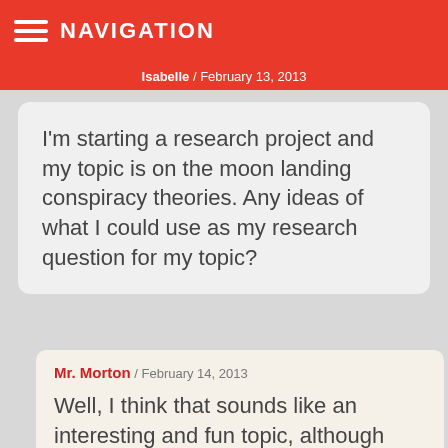NAVIGATION
Isabelle / February 13, 2013
I'm starting a research project and my topic is on the moon landing conspiracy theories. Any ideas of what I could use as my research question for my topic?
Mr. Morton / February 14, 2013
Well, I think that sounds like an interesting and fun topic, although finding credible...